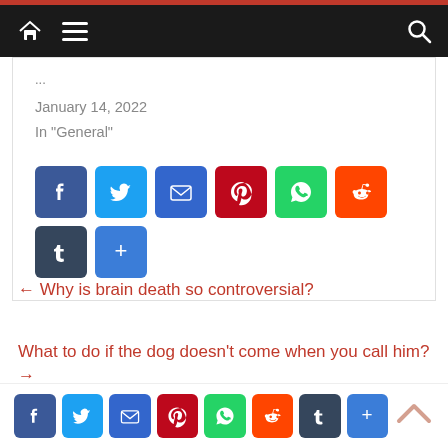Navigation bar with home, menu, and search icons
January 14, 2022
In "General"
[Figure (other): Social share buttons: Facebook, Twitter, Email, Pinterest, WhatsApp, Reddit, Tumblr, More]
← Why is brain death so controversial?
What to do if the dog doesn't come when you call him? →
[Figure (other): Social share buttons bottom row: Facebook, Twitter, Email, Pinterest, WhatsApp, Reddit, Tumblr, More, and back-to-top arrow]